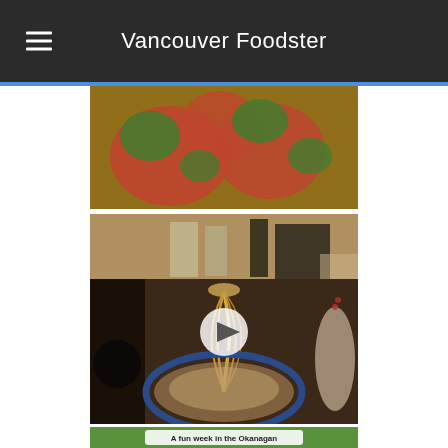Vancouver Foodster
[Figure (photo): Close-up food photo showing tomatoes, basil leaves, and pesto or herb toppings on a dish]
[Figure (photo): Video thumbnail of ramen noodles being lifted from a bowl with blue rim, with drinks visible in the background at a restaurant bar, play button overlay]
[Figure (photo): Photo thumbnail with text overlay reading 'A fun week in the Okanagan']